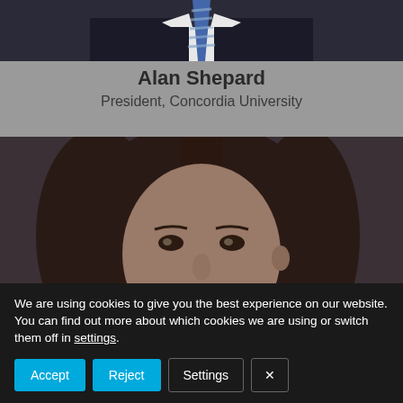[Figure (photo): Top portion of a man in a dark suit with a striped blue tie, cropped at chest level]
Alan Shepard
President, Concordia University
[Figure (photo): Portrait photo of a woman with dark brown hair, cropped showing face and upper head against a dark background, with a green triangle decoration in upper right corner]
We are using cookies to give you the best experience on our website.
You can find out more about which cookies we are using or switch them off in settings.